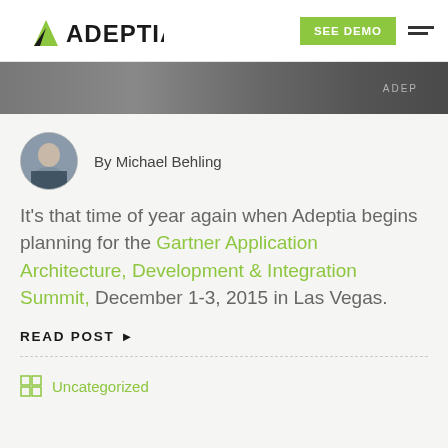ADEPTIA | SEE DEMO
[Figure (photo): Hero banner photo strip showing people at an event with ADEPTIA branding partially visible]
By Michael Behling
It’s that time of year again when Adeptia begins planning for the Gartner Application Architecture, Development & Integration Summit, December 1-3, 2015 in Las Vegas.
READ POST ►
Uncategorized